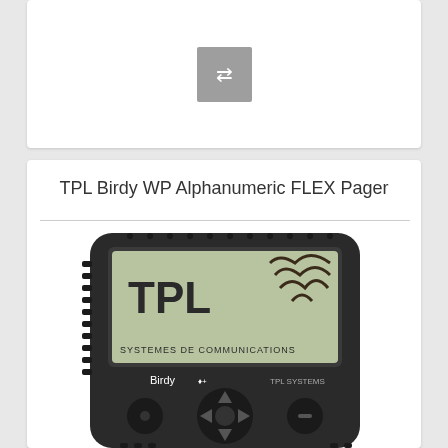[Figure (other): A grey square button with white swap/transfer arrows icon (two horizontal arrows pointing in opposite directions)]
TPL Birdy WP Alphanumeric FLEX Pager
[Figure (photo): Photo of a TPL Birdy WP Alphanumeric FLEX Pager device. It is a black handheld pager with a rectangular LCD screen displaying 'TPL' logo and 'SYSTEMES DE COMMUNICATIONS' text with a signal wave icon. Below the screen is the label 'Birdy' and navigation buttons including directional arrows and select buttons.]